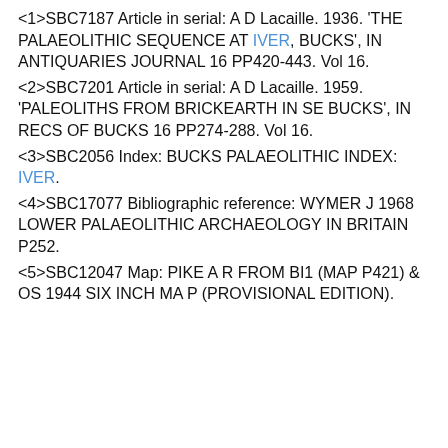<1>SBC7187 Article in serial: A D Lacaille. 1936. 'THE PALAEOLITHIC SEQUENCE AT IVER, BUCKS', IN ANTIQUARIES JOURNAL 16 PP420-443. Vol 16.
<2>SBC7201 Article in serial: A D Lacaille. 1959. 'PALEOLITHS FROM BRICKEARTH IN SE BUCKS', IN RECS OF BUCKS 16 PP274-288. Vol 16.
<3>SBC2056 Index: BUCKS PALAEOLITHIC INDEX: IVER.
<4>SBC17077 Bibliographic reference: WYMER J 1968 LOWER PALAEOLITHIC ARCHAEOLOGY IN BRITAIN P252.
<5>SBC12047 Map: PIKE A R FROM BI1 (MAP P421) & OS 1944 SIX INCH MA P (PROVISIONAL EDITION).